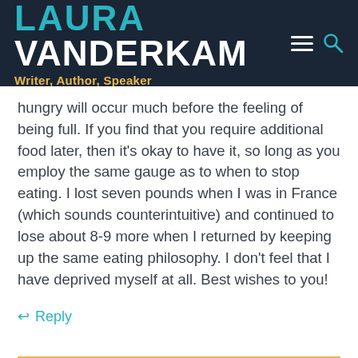LAURA VANDERKAM — Writer, Author, Speaker
hungry will occur much before the feeling of being full. If you find that you require additional food later, then it's okay to have it, so long as you employ the same gauge as to when to stop eating. I lost seven pounds when I was in France (which sounds counterintuitive) and continued to lose about 8-9 more when I returned by keeping up the same eating philosophy. I don't feel that I have deprived myself at all. Best wishes to you!
↩ Reply